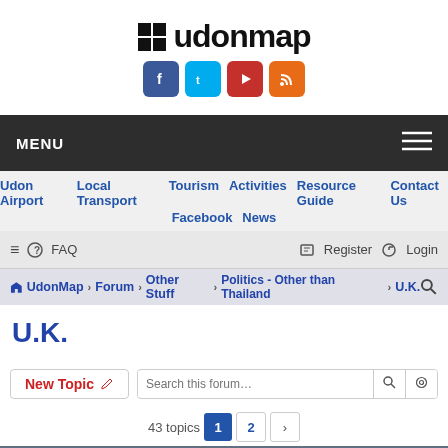[Figure (logo): UdonMap logo with grid icon and social media icons (Facebook, Twitter, YouTube, RSS)]
MENU
Udon Airport  Local Transport  Tourism  Activities  Resource Guide  Contact Us  Facebook  News
≡  FAQ    Register  Login
UdonMap › Forum › Other Stuff › Politics - Other than Thailand › U.K.
U.K.
New Topic  Search this forum…
43 topics  1  2  ›
Topics
General Discussion of UK Politics
Last post by tamada « August 18, 2022, 3:06 am